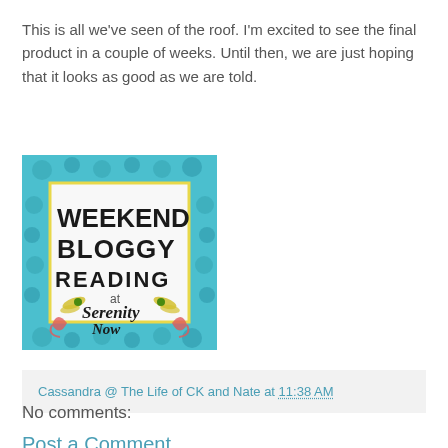This is all we've seen of the roof. I'm excited to see the final product in a couple of weeks. Until then, we are just hoping that it looks as good as we are told.
[Figure (illustration): Weekend Bloggy Reading at Serenity Now badge/button with teal decorative border, dragonfly illustrations, and handwritten-style text on white background.]
Cassandra @ The Life of CK and Nate at 11:38 AM
No comments:
Post a Comment